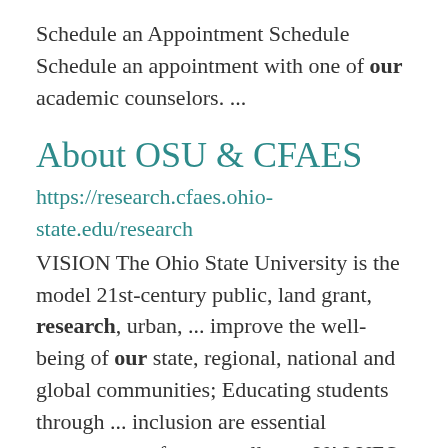Schedule an Appointment Schedule Schedule an appointment with one of our academic counselors. ...
About OSU & CFAES
https://research.cfaes.ohio-state.edu/research VISION The Ohio State University is the model 21st-century public, land grant, research, urban, ... improve the well-being of our state, regional, national and global communities; Educating students through ... inclusion are essential components of our excellence. VALUES Shared values are the commitments made by the ...